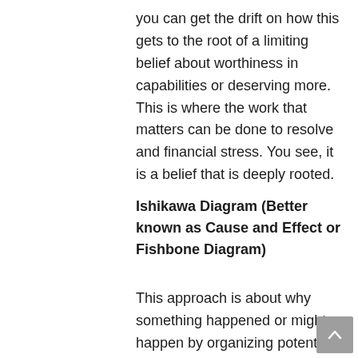you can get the drift on how this gets to the root of a limiting belief about worthiness in capabilities or deserving more. This is where the work that matters can be done to resolve and financial stress. You see, it is a belief that is deeply rooted.
Ishikawa Diagram (Better known as Cause and Effect or Fishbone Diagram)
This approach is about why something happened or might happen by organizing potential causes into smaller categories. Life is not lineal so understanding that